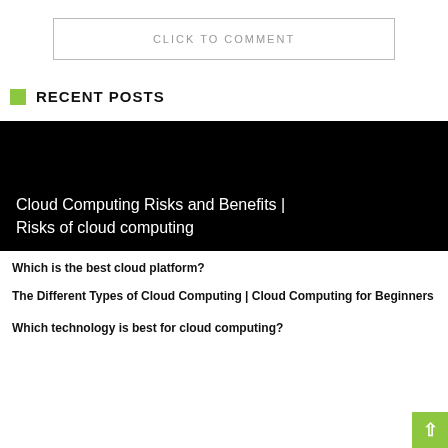CLICK TO COMMENT
RECENT POSTS
[Figure (photo): Black background image with white text: Cloud Computing Risks and Benefits | Risks of cloud computing]
Which is the best cloud platform?
The Different Types of Cloud Computing | Cloud Computing for Beginners
Which technology is best for cloud computing?